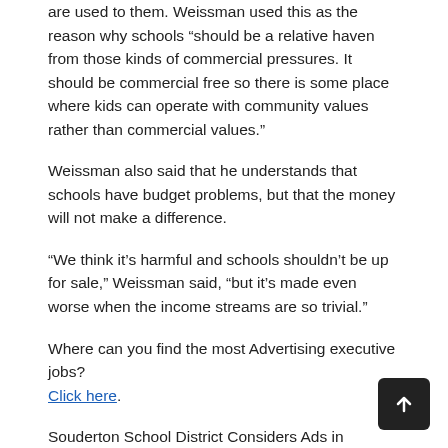are used to them. Weissman used this as the reason why schools “should be a relative haven from those kinds of commercial pressures. It should be commercial free so there is some place where kids can operate with community values rather than commercial values.”
Weissman also said that he understands that schools have budget problems, but that the money will not make a difference.
“We think it’s harmful and schools shouldn’t be up for sale,” Weissman said, “but it’s made even worse when the income streams are so trivial.”
Where can you find the most Advertising executive jobs? Click here.
Souderton School District Considers Ads in Schools by Harrison Barnes